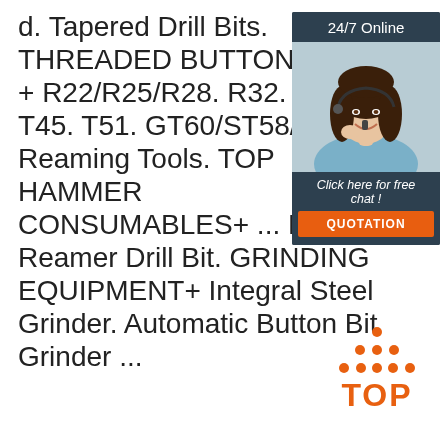d. Tapered Drill Bits. THREADED BUTTON BITS + R22/R25/R28. R32. T38. T45. T51. GT60/ST58/ST68. Reaming Tools. TOP HAMMER CONSUMABLES+ ... Rock Reamer Drill Bit. GRINDING EQUIPMENT+ Integral Steel Grinder. Automatic Button Bit Grinder ...
[Figure (infographic): Advertisement box with dark header '24/7 Online', photo of woman with headset smiling, dark footer with italic text 'Click here for free chat!' and orange 'QUOTATION' button]
[Figure (logo): TOP logo with orange dots forming a triangle above the word TOP in orange bold text]